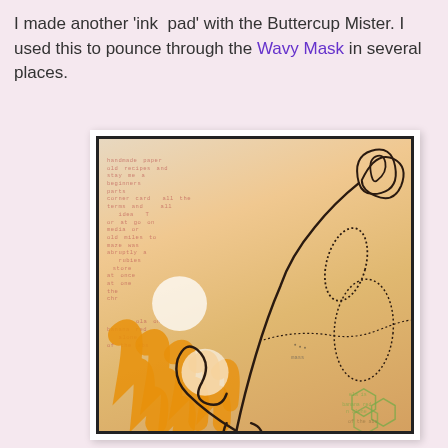I made another 'ink  pad' with the Buttercup Mister. I used this to pounce through the Wavy Mask in several places.
[Figure (photo): Close-up photo of a mixed media art journal page with an orange/peach textured background, red/pink stamped text, white circle shapes (from wavy mask), orange brush strokes, black curling vine/stem lines, a decorative flower with dotted outline at top right, and green hexagon shapes at bottom right. The piece is framed with a dark border and photographed against a light grey background.]